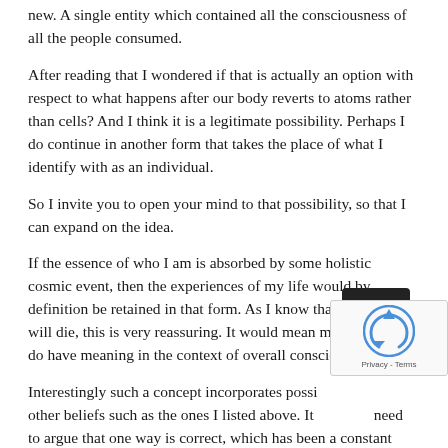new. A single entity which contained all the consciousness of all the people consumed.
After reading that I wondered if that is actually an option with respect to what happens after our body reverts to atoms rather than cells? And I think it is a legitimate possibility. Perhaps I do continue in another form that takes the place of what I identify with as an individual.
So I invite you to open your mind to that possibility, so that I can expand on the idea.
If the essence of who I am is absorbed by some holistic cosmic event, then the experiences of my life would by definition be retained in that form. As I know that my body will die, this is very reassuring. It would mean my experiences do have meaning in the context of overall consciousness.
Interestingly such a concept incorporates possibilities with other beliefs such as the ones I listed above. It does not need to argue that one way is correct, which has been a constant sore in the heart of humanity and the cause of